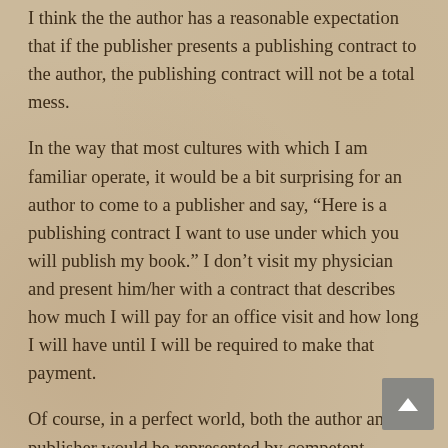I think the the author has a reasonable expectation that if the publisher presents a publishing contract to the author, the publishing contract will not be a total mess.
In the way that most cultures with which I am familiar operate, it would be a bit surprising for an author to come to a publisher and say, “Here is a publishing contract I want to use under which you will publish my book.” I don’t visit my physician and present him/her with a contract that describes how much I will pay for an office visit and how long I will have until I will be required to make that payment.
Of course, in a perfect world, both the author and publisher would be represented by competent counsel who would help them